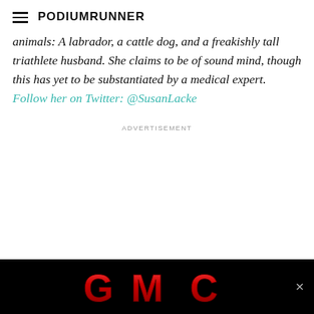PodiumRunner
animals: A labrador, a cattle dog, and a freakishly tall triathlete husband. She claims to be of sound mind, though this has yet to be substantiated by a medical expert. Follow her on Twitter: @SusanLacke
ADVERTISEMENT
[Figure (logo): GMC logo in red metallic lettering on black background advertisement banner]